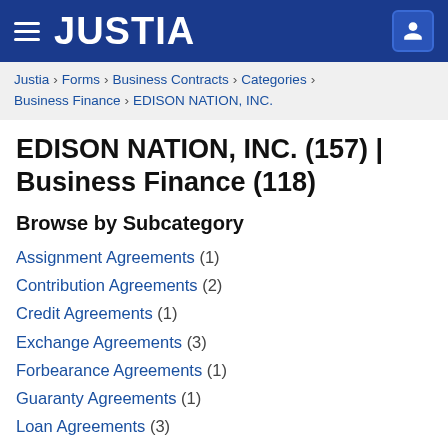JUSTIA
Justia › Forms › Business Contracts › Categories › Business Finance › EDISON NATION, INC.
EDISON NATION, INC. (157) | Business Finance (118)
Browse by Subcategory
Assignment Agreements (1)
Contribution Agreements (2)
Credit Agreements (1)
Exchange Agreements (3)
Forbearance Agreements (1)
Guaranty Agreements (1)
Loan Agreements (3)
Note Agreements (23)
Pledge Agreements (2)